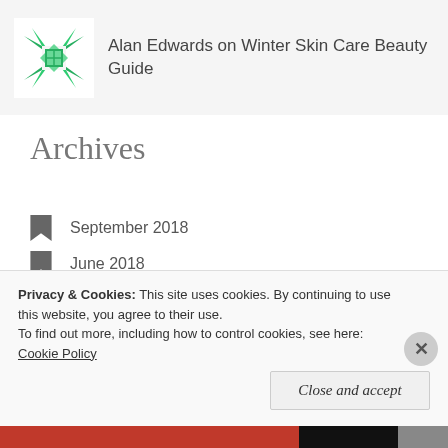Alan Edwards on Winter Skin Care Beauty Guide
Archives
September 2018
June 2018
April 2018
March 2018
February 2018
January 2018
Privacy & Cookies: This site uses cookies. By continuing to use this website, you agree to their use.
To find out more, including how to control cookies, see here: Cookie Policy
Close and accept